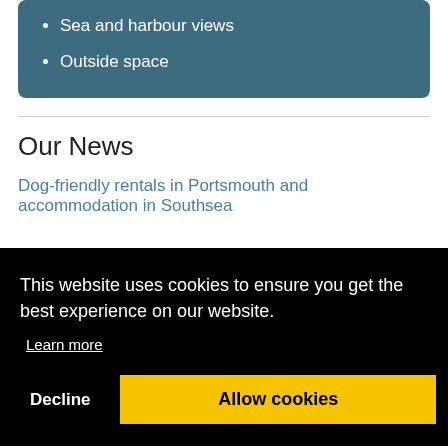Sea and harbour views
Outside space
Our News
Dog-friendly rentals in Portsmouth and accommodation in Southsea
This website uses cookies to ensure you get the best experience on our website.
Learn more
Decline
Allow cookies
thsea
a
Holiday lets Southsea: Things to do in July in Portsmouth and